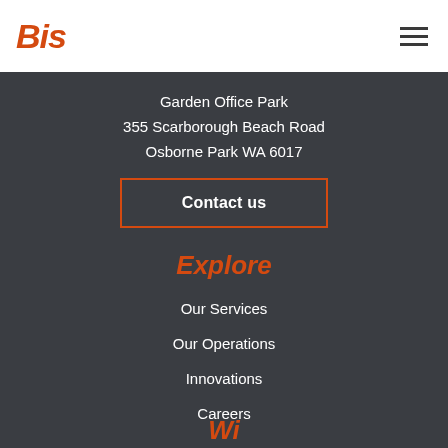[Figure (logo): BIS company logo in orange bold italic text]
Garden Office Park
355 Scarborough Beach Road
Osborne Park WA 6017
Contact us
Explore
Our Services
Our Operations
Innovations
Careers